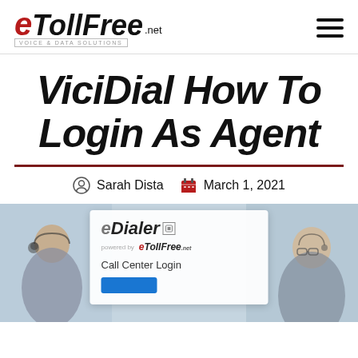eTollFree.net VOICE & DATA SOLUTIONS
ViciDial How To Login As Agent
Sarah Dista  March 1, 2021
[Figure (screenshot): eDialer powered by eTollFree Call Center Login screen with call center agents in background]